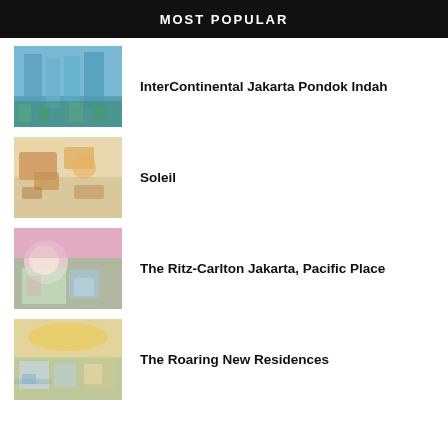MOST POPULAR
InterContinental Jakarta Pondok Indah
Soleil
The Ritz-Carlton Jakarta, Pacific Place
The Roaring New Residences